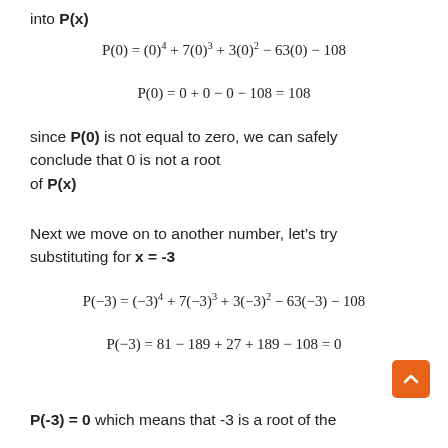into P(x)
since P(0) is not equal to zero, we can safely conclude that 0 is not a root of P(x)
Next we move on to another number, let's try substituting for x = -3
P(-3) = 0 which means that -3 is a root of the